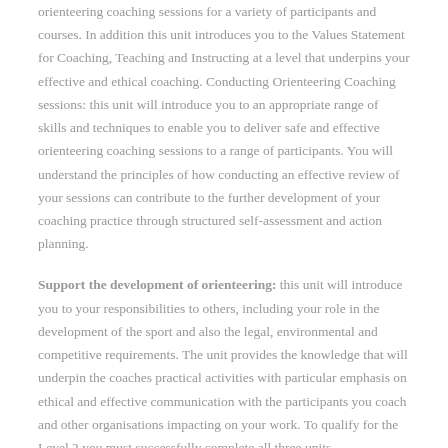orienteering coaching sessions for a variety of participants and courses. In addition this unit introduces you to the Values Statement for Coaching, Teaching and Instructing at a level that underpins your effective and ethical coaching. Conducting Orienteering Coaching sessions: this unit will introduce you to an appropriate range of skills and techniques to enable you to deliver safe and effective orienteering coaching sessions to a range of participants. You will understand the principles of how conducting an effective review of your sessions can contribute to the further development of your coaching practice through structured self-assessment and action planning.
Support the development of orienteering: this unit will introduce you to your responsibilities to others, including your role in the development of the sport and also the legal, environmental and competitive requirements. The unit provides the knowledge that will underpin the coaches practical activities with particular emphasis on ethical and effective communication with the participants you coach and other organisations impacting on your work. To qualify for the Level 2 you must successfully complete all three units.